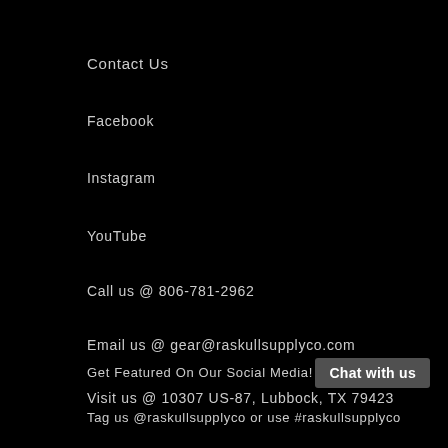Contact Us
Facebook
Instagram
YouTube
Call us @ 806-781-2962
Email us @ gear@raskullsupplyco.com
Visit us @ 10307 US-87, Lubbock, TX 79423
Get Featured On Our Social Media!
Chat with us
Tag us @raskullsupplyco or use #raskullsupplyco